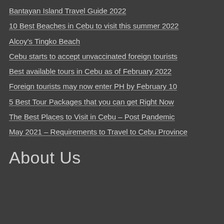Bantayan Island Travel Guide 2022
10 Best Beaches in Cebu to visit this summer 2022
Alcoy's Tingko Beach
Cebu starts to accept unvaccinated foreign tourists
Best available tours in Cebu as of February 2022
Foreign tourists may now enter PH by February 10
5 Best Tour Packages that you can get Right Now
The Best Places to Visit in Cebu – Post Pandemic
May 2021 – Requirements to Travel to Cebu Province
About Us